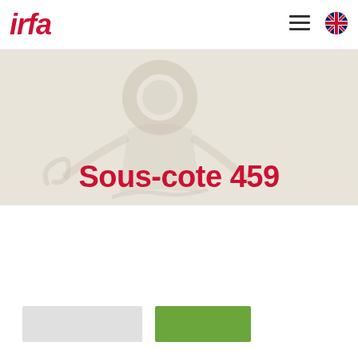[Figure (logo): IRFA logo in red italic bold text]
[Figure (illustration): Decorative hero banner with a faint watermark-style illustration of a human figure on a warm beige background]
Sous-cote 459
[Figure (other): Two buttons: a light gray rectangular button and a green rectangular button]